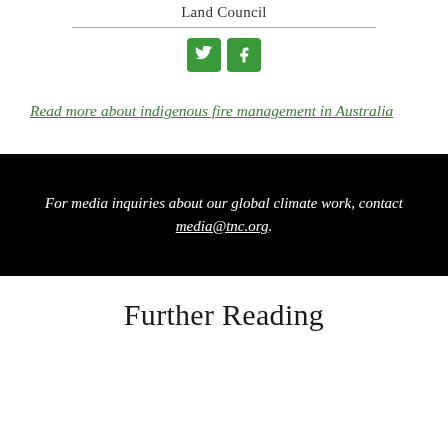Land Council
[Figure (other): Two social media icons: Twitter (bird) and Facebook (f), both green rounded squares]
Read more about indigenous fire management in Australia
For media inquiries about our global climate work, contact media@tnc.org.
Further Reading